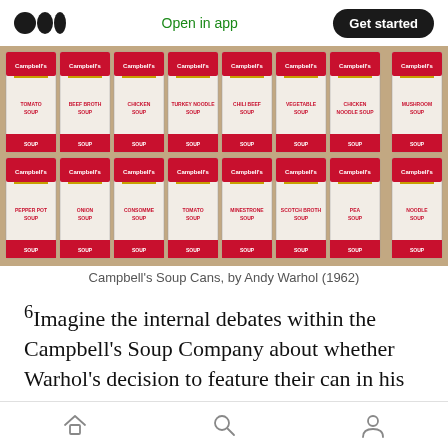Open in app | Get started
[Figure (photo): Campbell's Soup Cans artwork by Andy Warhol (1962) showing a grid of 16 painted soup can images in rows]
Campbell's Soup Cans, by Andy Warhol (1962)
⁶Imagine the internal debates within the Campbell's Soup Company about whether Warhol's decision to feature their can in his artwork was a good thing or a bad thing
⁷The paradox of the enduring fame of certain
Home | Search | Profile